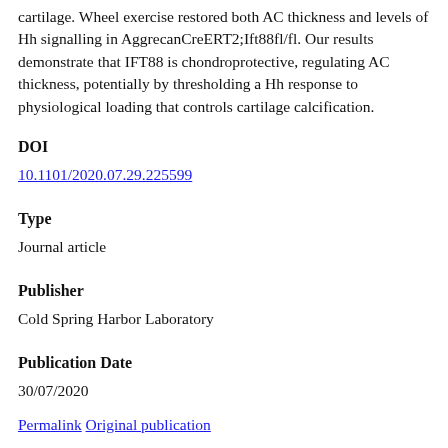cartilage. Wheel exercise restored both AC thickness and levels of Hh signalling in AggrecanCreERT2;Ift88fl/fl. Our results demonstrate that IFT88 is chondroprotective, regulating AC thickness, potentially by thresholding a Hh response to physiological loading that controls cartilage calcification.
DOI
10.1101/2020.07.29.225599
Type
Journal article
Publisher
Cold Spring Harbor Laboratory
Publication Date
30/07/2020
Permalink Original publication